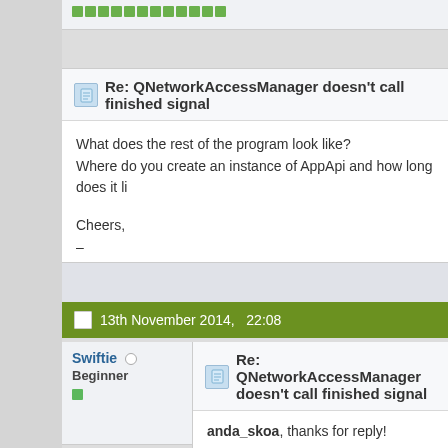[Figure (screenshot): Green reputation dots bar (partial, top of page, cut off)]
Re: QNetworkAccessManager doesn't call finished signal
What does the rest of the program look like?
Where do you create an instance of AppApi and how long does it li
Cheers,
–
13th November 2014,   22:08
Swiftie
Beginner
Re: QNetworkAccessManager doesn't call finished signal
anda_skoa, thanks for reply!